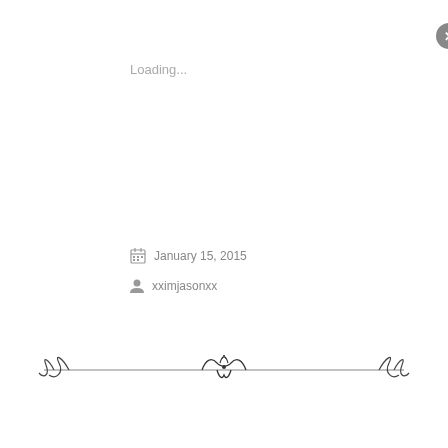Loading...
January 15, 2015
xximjasonxx
[Figure (illustration): Decorative ornamental divider with scrollwork and floral motifs]
Privacy & Cookies: This site uses cookies. By continuing to use this website, you agree to their use. To find out more, including how to control cookies, see here: Cookie Policy.
Close and accept